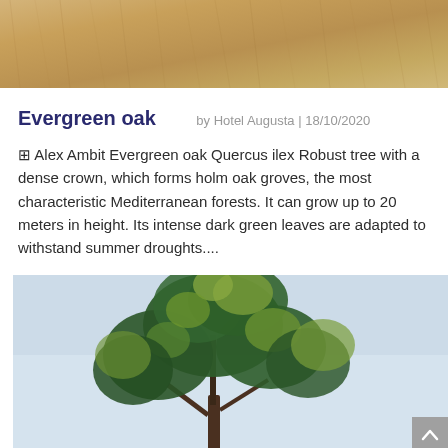[Figure (photo): Cropped top portion of a dry golden wheat or grass field photo]
Evergreen oak
by Hotel Augusta | 18/10/2020
© Alex Ambit Evergreen oak Quercus ilex Robust tree with a dense crown, which forms holm oak groves, the most characteristic Mediterranean forests. It can grow up to 20 meters in height. Its intense dark green leaves are adapted to withstand summer droughts....
[Figure (photo): Photo of an evergreen oak tree (Quercus ilex) against a light blue sky, showing dense dark green and yellowish-green foliage at the top of the tree]